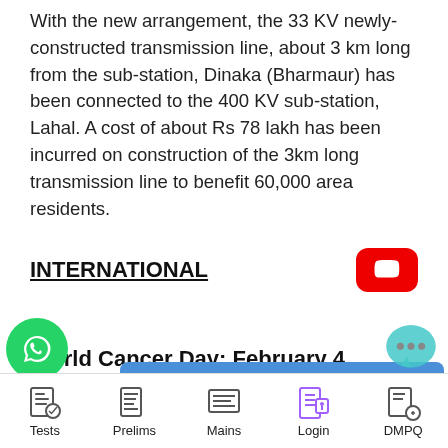With the new arrangement, the 33 KV newly-constructed transmission line, about 3 km long from the sub-station, Dinaka (Bharmaur) has been connected to the 400 KV sub-station, Lahal. A cost of about Rs 78 lakh has been incurred on construction of the 3km long transmission line to benefit 60,000 area residents.
INTERNATIONAL
–
World Cancer Day: February 4
[Figure (screenshot): Get Current Affairs PDF popup button overlay]
World Cancer Day is observed every year...
[Figure (screenshot): Bottom navigation bar with Tests, Prelims, Mains, Login, DMPQ icons]